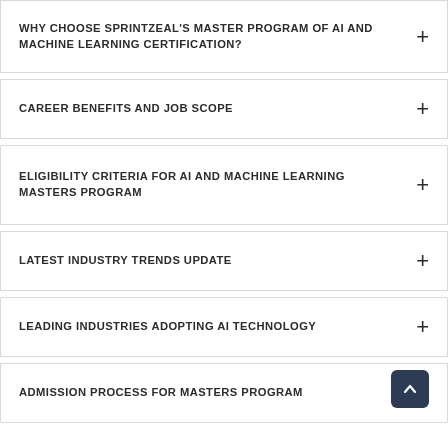WHY CHOOSE SPRINTZEAL'S MASTER PROGRAM OF AI AND MACHINE LEARNING CERTIFICATION?
CAREER BENEFITS AND JOB SCOPE
ELIGIBILITY CRITERIA FOR AI AND MACHINE LEARNING MASTERS PROGRAM
LATEST INDUSTRY TRENDS UPDATE
LEADING INDUSTRIES ADOPTING AI TECHNOLOGY
ADMISSION PROCESS FOR MASTERS PROGRAM